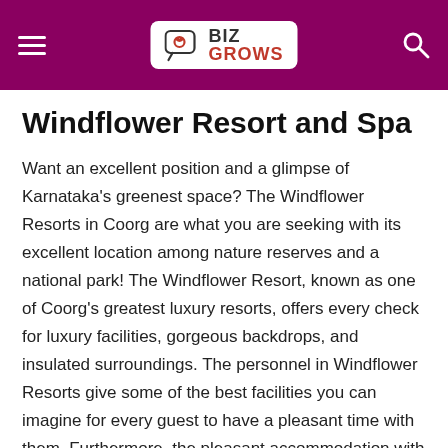BIZ GROWS
Windflower Resort and Spa
Want an excellent position and a glimpse of Karnataka's greenest space? The Windflower Resorts in Coorg are what you are seeking with its excellent location among nature reserves and a national park! The Windflower Resort, known as one of Coorg's greatest luxury resorts, offers every check for luxury facilities, gorgeous backdrops, and insulated surroundings. The personnel in Windflower Resorts give some of the best facilities you can imagine for every guest to have a pleasant time with them. Furthermore, the pleasant accommodation with the